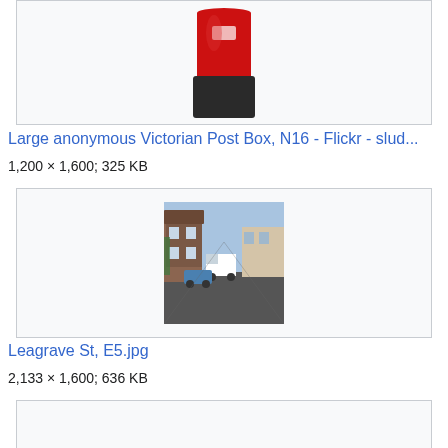[Figure (photo): Red Victorian post box on a street, partially cropped at top]
Large anonymous Victorian Post Box, N16 - Flickr - slud...
1,200 × 1,600; 325 KB
[Figure (photo): Street scene of Leagrave St, E5 showing terraced houses and parked cars]
Leagrave St, E5.jpg
2,133 × 1,600; 636 KB
[Figure (photo): Partially visible image card at bottom of page]